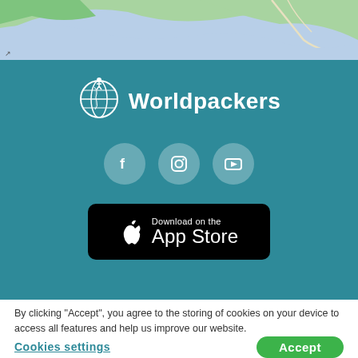[Figure (map): Top portion of a map showing green land areas and blue water, partial view of a coastal region.]
[Figure (logo): Worldpackers logo: white globe icon with a small figure on top, and the text 'Worldpackers' in white bold font on a teal background.]
[Figure (infographic): Three social media icon circles on teal background: Facebook (f), Instagram (camera), YouTube (play button).]
[Figure (screenshot): Black App Store download badge with Apple logo and text 'Download on the App Store'.]
By clicking “Accept”, you agree to the storing of cookies on your device to access all features and help us improve our website.
Cookies settings
Accept